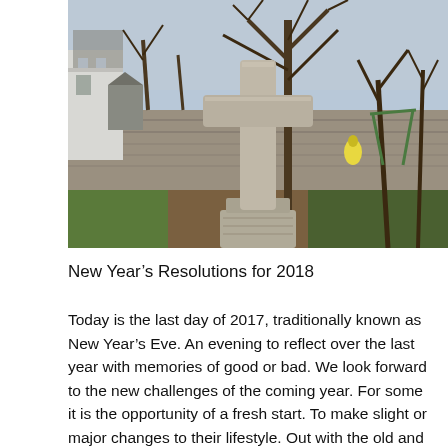[Figure (photo): Outdoor photograph of a stone cross monument on a stone base in a garden or churchyard setting. Behind it are bare winter trees, a stone wall, a white building to the left, and a green metal swing structure to the right. Grass and plants visible in foreground and background.]
New Year's Resolutions for 2018
Today is the last day of 2017, traditionally known as New Year's Eve. An evening to reflect over the last year with memories of good or bad. We look forward to the new challenges of the coming year. For some it is the opportunity of a fresh start. To make slight or major changes to their lifestyle. Out with the old and in with the new. Many make resolutions knowing that the